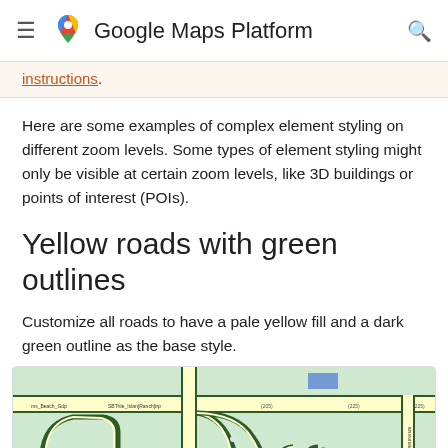Google Maps Platform
instructions.
Here are some examples of complex element styling on different zoom levels. Some types of element styling might only be visible at certain zoom levels, like 3D buildings or points of interest (POIs).
Yellow roads with green outlines
Customize all roads to have a pale yellow fill and a dark green outline as the base style.
[Figure (map): Map screenshot showing yellow roads with dark green outlines on a light green background, demonstrating the custom road styling.]